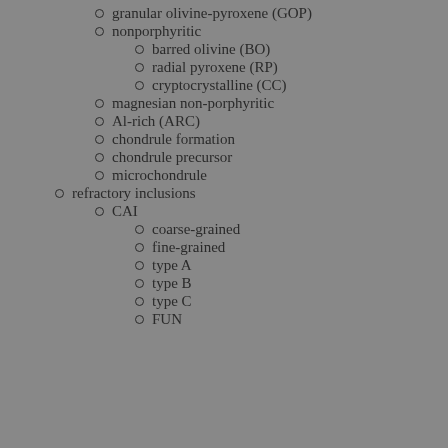granular olivine-pyroxene (GOP)
nonporphyritic
barred olivine (BO)
radial pyroxene (RP)
cryptocrystalline (CC)
magnesian non-porphyritic
Al-rich (ARC)
chondrule formation
chondrule precursor
microchondrule
refractory inclusions
CAI
coarse-grained
fine-grained
type A
type B
type C
FUN